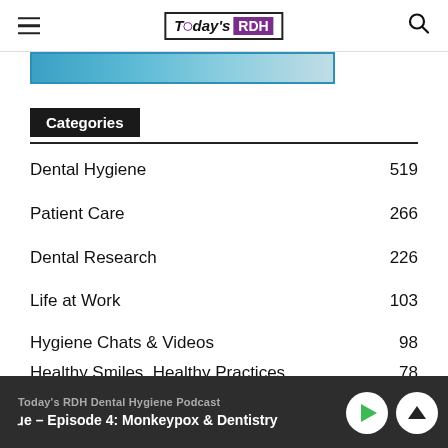Today's RDH
[Figure (photo): Partial banner/header image strip in blue tones]
Categories
Dental Hygiene 519
Patient Care 266
Dental Research 226
Life at Work 103
Hygiene Chats & Videos 98
Healthy Smiles, Healthy Practices 78
COVID-19 52
Today's RDH Dental Hygiene Podcast | je – Episode 4: Monkeypox & Dentistry